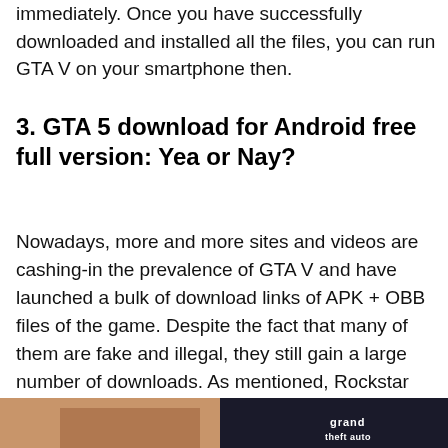immediately. Once you have successfully downloaded and installed all the files, you can run GTA V on your smartphone then.
3. GTA 5 download for Android free full version: Yea or Nay?
Nowadays, more and more sites and videos are cashing-in the prevalence of GTA V and have launched a bulk of download links of APK + OBB files of the game. Despite the fact that many of them are fake and illegal, they still gain a large number of downloads. As mentioned, Rockstar Games has ported the game to a wide range of platforms, but for Android (and iOS).
[Figure (photo): Photo showing hands holding a smartphone with the Grand Theft Auto (GTA) game logo visible on the screen]